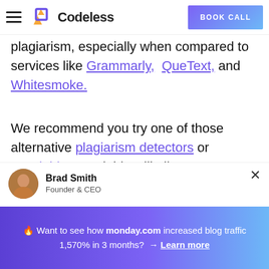Codeless | BOOK CALL
plagiarism, especially when compared to services like Grammarly, QueText, and Whitesmoke.
We recommend you try one of those alternative plagiarism detectors or Wordable. Wordable will allow you to export from Google Docs to WordPress
Brad Smith
Founder & CEO
🔥 Want to see how monday.com increased blog traffic 1,570% in 3 months? → Learn more